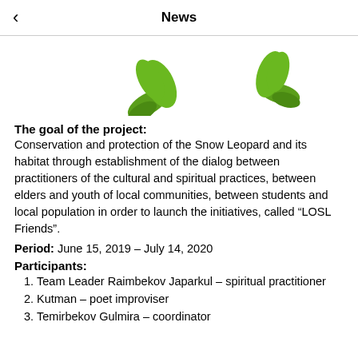News
[Figure (illustration): Partial view of green snow leopard paw print illustration, showing two green curved shapes/toes on white background]
The goal of the project:
Conservation and protection of the Snow Leopard and its habitat through establishment of the dialog between practitioners of the cultural and spiritual practices, between elders and youth of local communities, between students and local population in order to launch the initiatives, called “LOSL Friends”.
Period: June 15, 2019 – July 14, 2020
Participants:
Team Leader Raimbekov Japarkul – spiritual practitioner
Kutman – poet improviser
Temirbekov Gulmira – coordinator